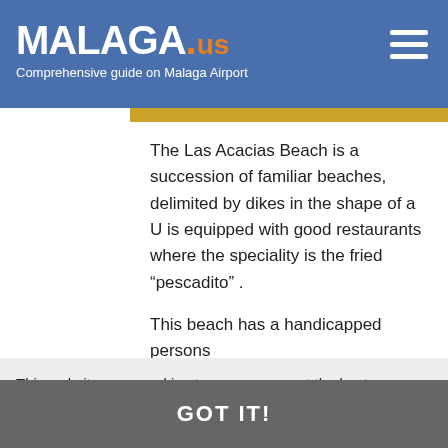MALAGA.us - Comprehensive guide on Malaga Airport
The Las Acacias Beach is a succession of familiar beaches, delimited by dikes in the shape of a U is equipped with good restaurants where the speciality is the fried “pescadito” .
This beach has a handicapped persons facilities, beach umbrellas and hammocks, showers, parking and a park for childrens. You can practice here fishing.
Type: City Beach
Size: Medium (1200 m)
Average width: 20 m
This website uses cookies to ensure you get the best experience on our website. Learn more
GOT IT!